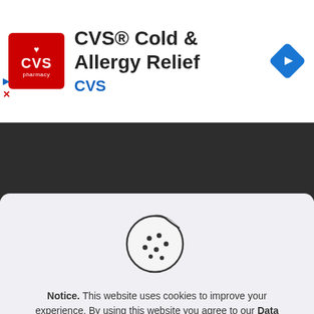[Figure (logo): CVS Pharmacy red logo with heart icon and brand name]
CVS® Cold & Allergy Relief
CVS
[Figure (illustration): Blue diamond navigation/directions icon with right-arrow]
Blog Categories
Select Category
[Figure (illustration): Cookie icon - circle with bite taken out and dots representing chocolate chips]
Notice. This website uses cookies to improve your experience. By using this website you agree to our Data Protection Policy.
Read more
Accept all